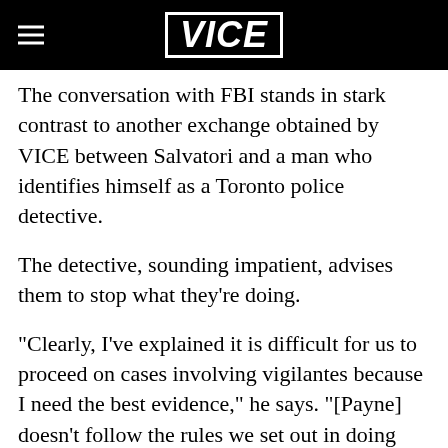VICE
The conversation with FBI stands in stark contrast to another exchange obtained by VICE between Salvatori and a man who identifies himself as a Toronto police detective.
The detective, sounding impatient, advises them to stop what they're doing.
"Clearly, I've explained it is difficult for us to proceed on cases involving vigilantes because I need the best evidence," he says. "[Payne] doesn't follow the rules we set out in doing these types of investigations. We obviously can't